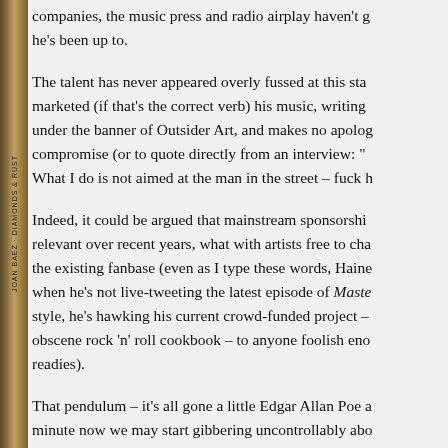companies, the music press and radio airplay haven't g he's been up to.
The talent has never appeared overly fussed at this sta marketed (if that's the correct verb) his music, writing under the banner of Outsider Art, and makes no apolo compromise (or to quote directly from an interview: " What I do is not aimed at the man in the street – fuck
Indeed, it could be argued that mainstream sponsorshi relevant over recent years, what with artists free to ch the existing fanbase (even as I type these words, Haine when he's not live-tweeting the latest episode of Maste style, he's hawking his current crowd-funded project – obscene rock 'n' roll cookbook – to anyone foolish ene readies).
That pendulum – it's all gone a little Edgar Allan Poe minute now we may start gibbering uncontrollably abo
What isn't in doubt is that by the mid-noughties, Hain